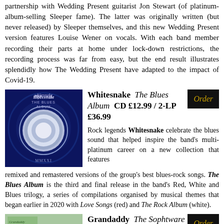partnership with Wedding Present guitarist Jon Stewart (of platinum-album-selling Sleeper fame). The latter was originally written (but never released) by Sleeper themselves, and this new Wedding Present version features Louise Wener on vocals. With each band member recording their parts at home under lock-down restrictions, the recording process was far from easy, but the end result illustrates splendidly how The Wedding Present have adapted to the impact of Covid-19.
[Figure (illustration): Whitesnake The Blues Album cover art - dark blue background with ornate circular emblem]
Whitesnake The Blues Album CD £12.99 / 2-LP £36.99
[Figure (other): Order button - black background with gold italic Order text]
Rock legends Whitesnake celebrate the blues sound that helped inspire the band's multi-platinum career on a new collection that features remixed and remastered versions of the group's best blues-rock songs. The Blues Album is the third and final release in the band's Red, White and Blues trilogy, a series of compilations organised by musical themes that began earlier in 2020 with Love Songs (red) and The Rock Album (white).
[Figure (illustration): Grandaddy The Sophtware Slump on a wooden piano - album cover showing a piano on grass]
Grandaddy The Sophtware Slump ..... on a wooden piano CD £12.99 / LP £22.99
[Figure (other): Order button - black background with gold italic Order text]